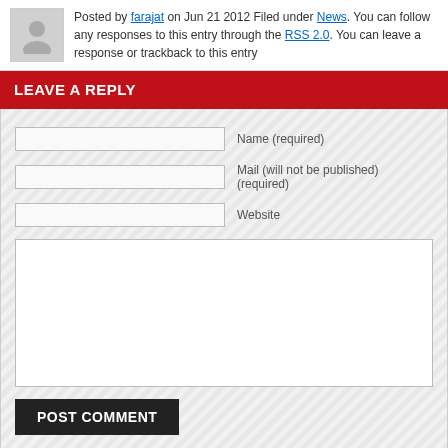Posted by farajat on Jun 21 2012 Filed under News. You can follow any responses to this entry through the RSS 2.0. You can leave a response or trackback to this entry
LEAVE A REPLY
Name (required)
Mail (will not be published) (required)
Website
POST COMMENT
POETRY  NEWS  ARTICLES  EDITORIAL  NOTICES  INTERVIEWS
ABOUT  HISTORICAL